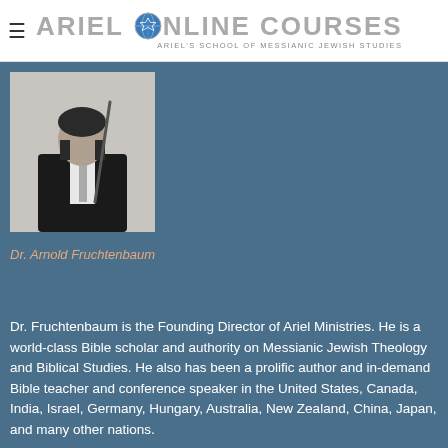ARIEL ONLINE COURSES — ARIEL'S SCHOOL OF MESSIANIC JEWISH STUDIES
[Figure (photo): Black and white photo of Dr. Arnold Fruchtenbaum holding a pointer, wearing a dark jacket and tie.]
Dr. Arnold Fruchtenbaum
Dr. Fruchtenbaum is the Founding Director of Ariel Ministries. He is a world-class Bible scholar and authority on Messianic Jewish Theology and Biblical Studies. He also has been a prolific author and in-demand Bible teacher and conference speaker in the United States, Canada, India, Israel, Germany, Hungary, Australia, New Zealand, China, Japan, and many other nations.